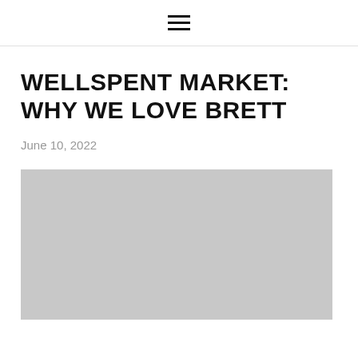☰
WELLSPENT MARKET: WHY WE LOVE BRETT
June 10, 2022
[Figure (photo): Gray placeholder image for article]